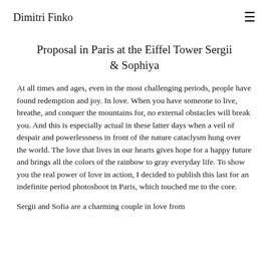Dimitri Finko
Proposal in Paris at the Eiffel Tower Sergii & Sophiya
At all times and ages, even in the most challenging periods, people have found redemption and joy. In love. When you have someone to live, breathe, and conquer the mountains for, no external obstacles will break you. And this is especially actual in these latter days when a veil of despair and powerlessness in front of the nature cataclysm hung over the world. The love that lives in our hearts gives hope for a happy future and brings all the colors of the rainbow to gray everyday life. To show you the real power of love in action, I decided to publish this last for an indefinite period photoshoot in Paris, which touched me to the core.
Sergii and Sofia are a charming couple in love from